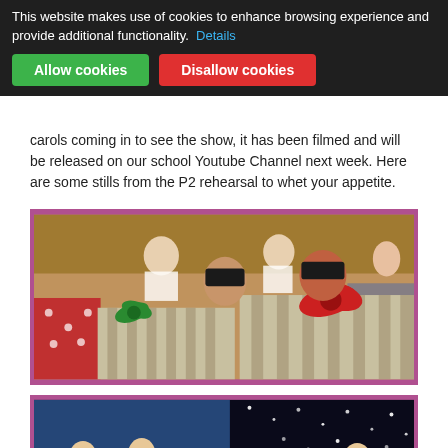This website makes use of cookies to enhance browsing experience and provide additional functionality. Details [Allow cookies] [Disallow cookies]
...carols coming in to see the show, it has been filmed and will be released on our school Youtube Channel next week. Here are some stills from the P2 rehearsal to whet your appetite.
[Figure (photo): Children in school play/concert holding large wrapped Christmas gift boxes with bows, seated in a school hall with other children in background]
[Figure (photo): Children on stage at night with star-lit black backdrop curtain, performing in a Christmas show]